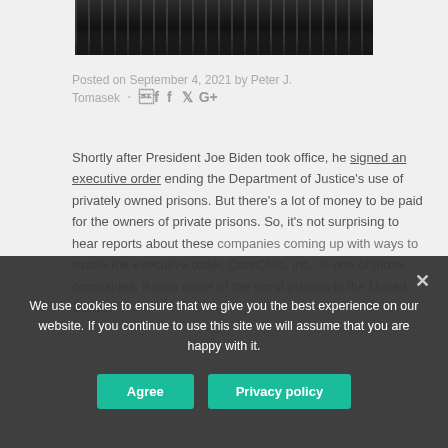[Figure (photo): Black and white photo of a prison corridor with bars, viewed from one end showing a long hallway perspective.]
Posted on September 4, 2021 by Peter J. Tomasek
Shortly after President Joe Biden took office, he signed an executive order ending the Department of Justice's use of privately owned prisons. But there's a lot of money to be paid for the owners of private prisons. So, it's not surprising to hear reports about these companies coming up with ways to evade the executive order. CoreCivic, Inc., is one of those companies. It runs some of the worst prisons in the United States.
We use cookies to ensure that we give you the best experience on our website. If you continue to use this site we will assume that you are happy with it.